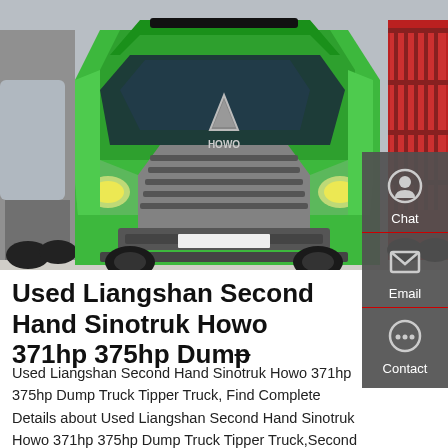[Figure (photo): Front view of a bright green Sinotruk Howo dump truck in a showroom, with red trucks visible on the right side and gray tanker on the left.]
Used Liangshan Second Hand Sinotruk Howo 371hp 375hp Dump
Used Liangshan Second Hand Sinotruk Howo 371hp 375hp Dump Truck Tipper Truck, Find Complete Details about Used Liangshan Second Hand Sinotruk Howo 371hp 375hp Dump Truck Tipper Truck,Second Hand Used Sinotruk Howo Dump Tipper Truck 6x4 Zz3257n3847a,Used Howo Tipper Trucks 8x4,Second